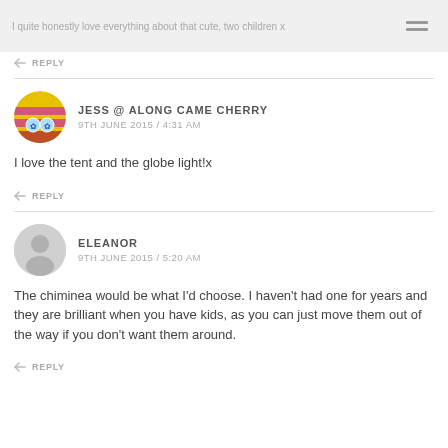I quite honestly love everything about that cute, two children x
REPLY
JESS @ ALONG CAME CHERRY
9TH JUNE 2015 / 4:31 AM
I love the tent and the globe light!x
REPLY
ELEANOR
9TH JUNE 2015 / 5:20 AM
The chiminea would be what I’d choose. I haven’t had one for years and they are brilliant when you have kids, as you can just move them out of the way if you don’t want them around.
REPLY